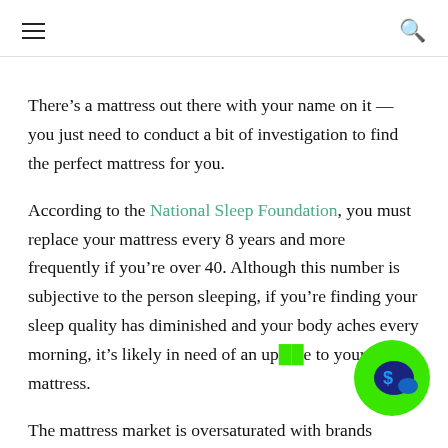[hamburger menu icon] [search icon]
There’s a mattress out there with your name on it — you just need to conduct a bit of investigation to find the perfect mattress for you.
According to the National Sleep Foundation, you must replace your mattress every 8 years and more frequently if you’re over 40. Although this number is subjective to the person sleeping, if you’re finding your sleep quality has diminished and your body aches every morning, it’s likely in need of an upgrade to your mattress.
The mattress market is oversaturated with brands
[Figure (illustration): Green circular chat bubble icon with a dollar sign speech bubble graphic in blue/dark blue, positioned at bottom right of page.]